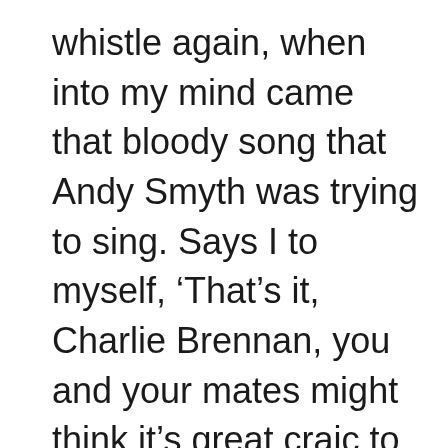whistle again, when into my mind came that bloody song that Andy Smyth was trying to sing. Says I to myself, ‘That’s it, Charlie Brennan, you and your mates might think it’s great craic to help yourselves to other people’s apples, pears, and such things, but it’s just as much stealing as if you had gone into a man’s house and stole his coat.’ It doesn’t seem as bad when you’re going to raid an orchard, but when you’re